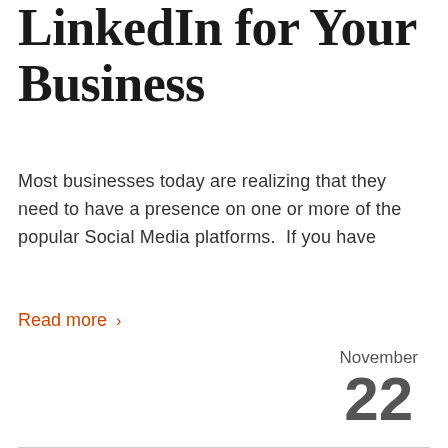LinkedIn for Your Business
Most businesses today are realizing that they need to have a presence on one or more of the popular Social Media platforms.  If you have
Read more >
November 22